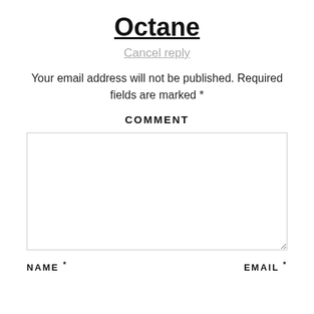Octane
Cancel reply
Your email address will not be published. Required fields are marked *
COMMENT
[Figure (other): A large empty comment textarea input box with a resize handle in the bottom-right corner]
NAME *
EMAIL *